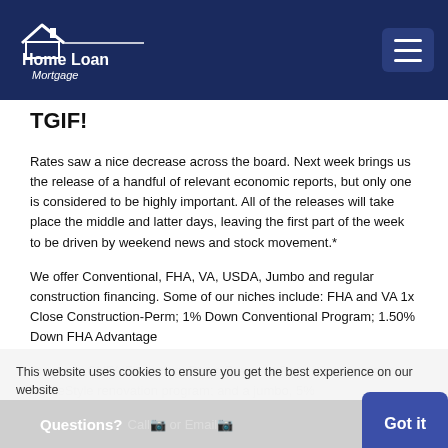Home Loan Mortgage
TGIF!
Rates saw a nice decrease across the board. Next week brings us the release of a handful of relevant economic reports, but only one is considered to be highly important. All of the releases will take place the middle and latter days, leaving the first part of the week to be driven by weekend news and stock movement.*
We offer Conventional, FHA, VA, USDA, Jumbo and regular construction financing. Some of our niches include: FHA and VA 1x Close Construction-Perm; 1% Down Conventional Program; 1.50% Down FHA Advantage Program; CHFA Financing; Down Payment Protection program; HomeStyle renovation program; and a jumbo, 5%
This website uses cookies to ensure you get the best experience on our website
Questions? Call or Email  Got it